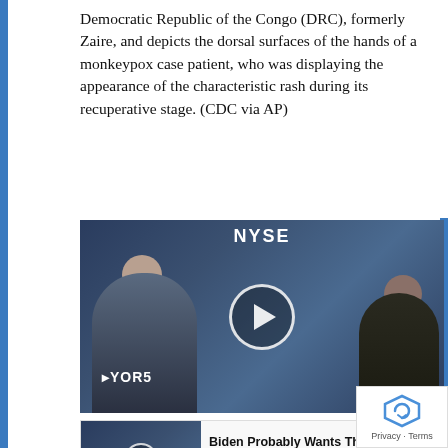Democratic Republic of the Congo (DRC), formerly Zaire, and depicts the dorsal surfaces of the hands of a monkeypox case patient, who was displaying the appearance of the characteristic rash during its recuperative stage. (CDC via AP)
[Figure (screenshot): Video player showing NYSE trading floor scene with play button overlay and 'Promoted X' label]
[Figure (screenshot): Promoted ad: Biden Probably Wants This Video Destroyed — Massive Currency Upheaval Has Started, with video thumbnail]
[Figure (screenshot): Promoted ad: How To Lose 40.5 Lbs In A Month (Eat This Once Every Day), with before/after photo thumbnail]
Privacy · Terms